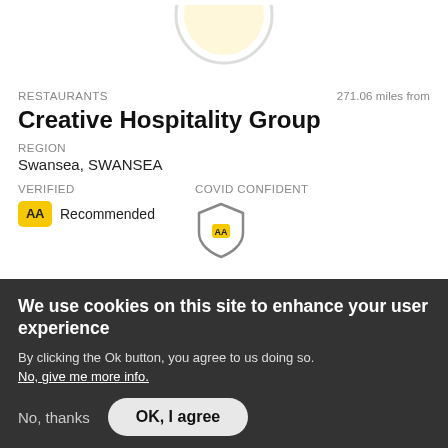[Figure (logo): AA logo/brand icon, partially visible at top center]
RESTAURANTS
271.06 miles from
Creative Hospitality Group
REGION
Swansea, SWANSEA
VERIFIED
COVID CONFIDENT
AA Recommended
[Figure (logo): AA shield/COVID Confident badge icon]
Find out more >
We use cookies on this site to enhance your user experience
By clicking the Ok button, you agree to us doing so.
No, give me more info.
No, thanks
OK, I agree